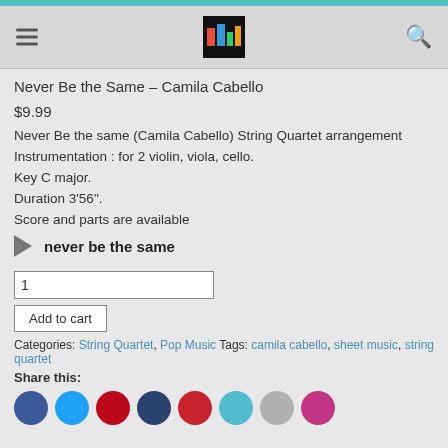Never Be the Same – Camila Cabello (music sheet store header)
Never Be the Same – Camila Cabello
$9.99
Never Be the same (Camila Cabello) String Quartet arrangement
Instrumentation : for 2 violin, viola, cello.
Key C major.
Duration 3'56".
Score and parts are available
[Figure (other): Audio player with play button and track title 'never be the same']
1
Add to cart
Categories: String Quartet, Pop Music Tags: camila cabello, sheet music, string quartet
Share this:
[Figure (other): Social media share icons: Facebook, Twitter, Pinterest, LinkedIn, Pinterest red, email, and more]